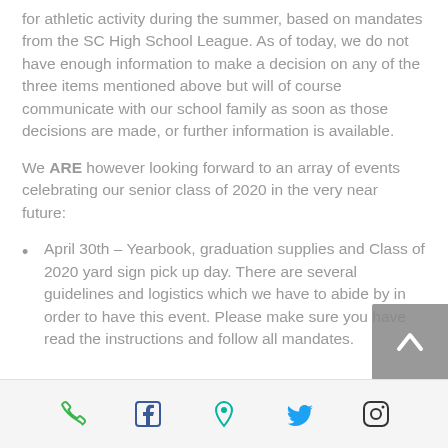for athletic activity during the summer, based on mandates from the SC High School League.  As of today, we do not have enough information to make a decision on any of the three items mentioned above but will of course communicate with our school family as soon as those decisions are made, or further information is available.
We ARE however looking forward to an array of events celebrating our senior class of 2020 in the very near future:
April 30th – Yearbook, graduation supplies and Class of 2020 yard sign pick up day.  There are several guidelines and logistics which we have to abide by in order to have this event.  Please make sure you have read the instructions and follow all mandates.
[Figure (other): Back to top arrow button, grey background with upward chevron]
Social media icons: phone, Facebook, location pin, Twitter, Instagram